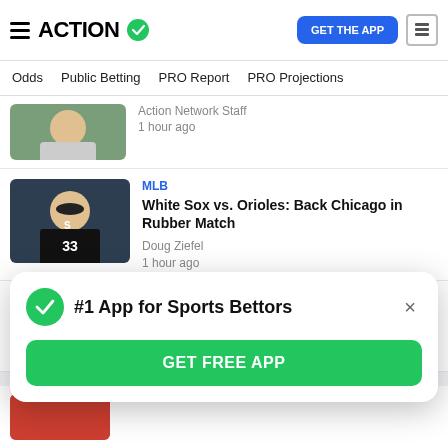ACTION (logo with checkmark) | GET THE APP | News icon
Odds | Public Betting | PRO Report | PRO Projections
Action Network Staff
1 hour ago
MLB
White Sox vs. Orioles: Back Chicago in Rubber Match
Doug Ziefel
1 hour ago
NFL
Which Kansas City Chiefs Players Can You Bet
#1 App for Sports Bettors
GET FREE APP